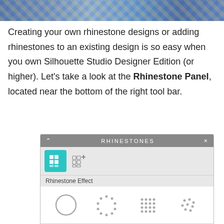[Figure (photo): Decorative quilt/rhinestone design banner image in blues and yellows at the top of the page]
Creating your own rhinestone designs or adding rhinestones to an existing design is so easy when you own Silhouette Studio Designer Edition (or higher). Let's take a look at the Rhinestone Panel, located near the bottom of the right tool bar.
[Figure (screenshot): Screenshot of the Rhinestone Panel in Silhouette Studio software, showing the panel header 'RHINESTONES', icon row with active and inactive grid icons, Rhinestone Effect section with four pattern options (solid circle, dotted circle, dot grid, dot cluster), and Rhinestone Size section with four sizes labeled 6ss, 10ss, 16ss, 20ss shown as progressively larger circles.]